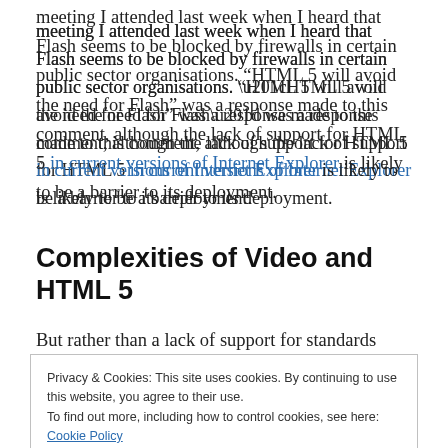meeting I attended last week when I heard that Flash seems to be blocked by firewalls in certain public sector organisations. “HTML 5 will avoid the need for Flash” was a response made to this comment, although the lack of support for HTML 5 in current versions of Internet Explorer is likely to be a barrier to its deployment.
Complexities of Video and HTML 5
But rather than a lack of support for standards being a
Privacy & Cookies: This site uses cookies. By continuing to use this website, you agree to their use.
To find out more, including how to control cookies, see here: Cookie Policy
Close and accept